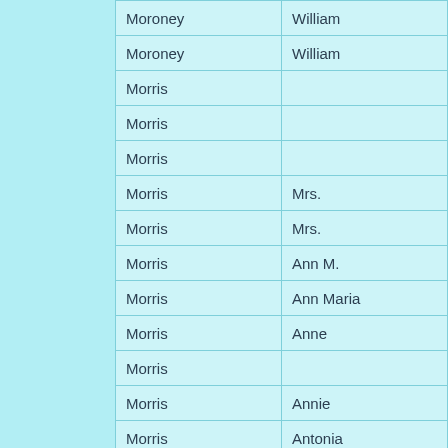| Last Name | First Name |
| --- | --- |
| Moroney | William |
| Moroney | William |
| Morris |  |
| Morris |  |
| Morris |  |
| Morris | Mrs. |
| Morris | Mrs. |
| Morris | Ann M. |
| Morris | Ann Maria |
| Morris | Anne |
| Morris |  |
| Morris | Annie |
| Morris | Antonia |
| Morris | Antonia |
| Morris | Edith |
| Morris | Ephemna |
| Morris | Euphemia |
| Morris | Euphemia |